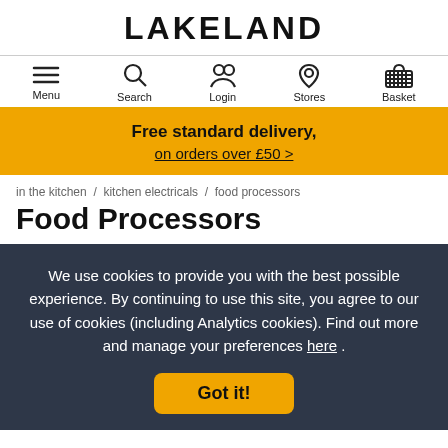LAKELAND
[Figure (screenshot): Navigation bar with icons for Menu, Search, Login, Stores, Basket]
Free standard delivery, on orders over £50 >
in the kitchen / kitchen electricals / food processors
Food Processors
We use cookies to provide you with the best possible experience. By continuing to use this site, you agree to our use of cookies (including Analytics cookies). Find out more and manage your preferences here .
Got it!